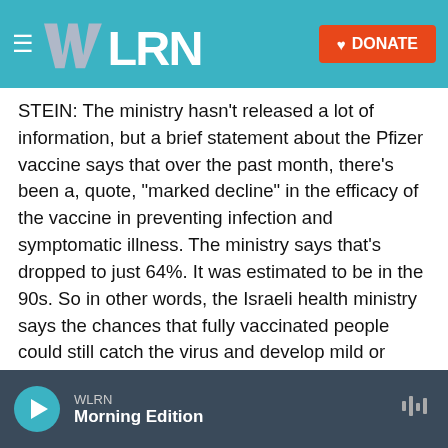WLRN — Navigation bar with logo and DONATE button
STEIN: The ministry hasn't released a lot of information, but a brief statement about the Pfizer vaccine says that over the past month, there's been a, quote, "marked decline" in the efficacy of the vaccine in preventing infection and symptomatic illness. The ministry says that's dropped to just 64%. It was estimated to be in the 90s. So in other words, the Israeli health ministry says the chances that fully vaccinated people could still catch the virus and develop mild or moderate symptoms has increased significantly.
SHAPIRO: That sounds really concerning. So what's
WLRN — Morning Edition